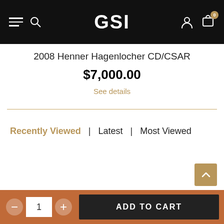GSI
2008 Henner Hagenlocher CD/CSAR
$7,000.00
See details
Recently Viewed | Latest | Most Viewed
ADD TO CART